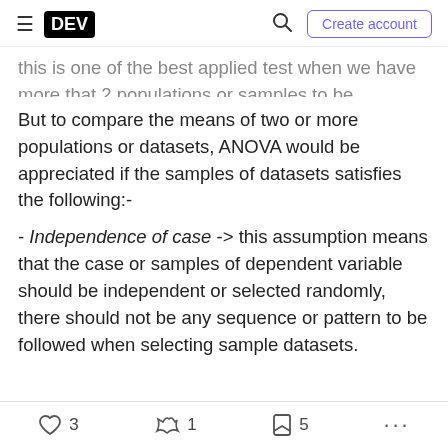DEV | Create account
this is one of the best applied test when we have more that 2 populations or samples to be compared.
But to compare the means of two or more populations or datasets, ANOVA would be appreciated if the samples of datasets satisfies the following:-
- Independence of case -> this assumption means that the case or samples of dependent variable should be independent or selected randomly, there should not be any sequence or pattern to be followed when selecting sample datasets.
3   1   5   ...